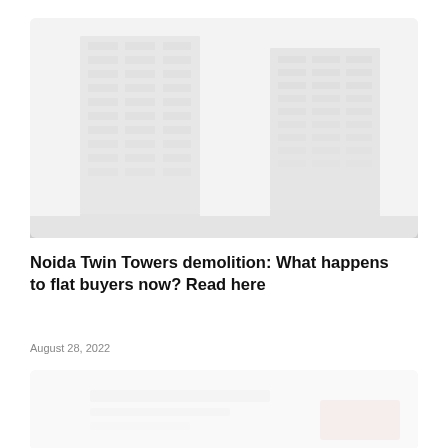[Figure (photo): Faded/washed-out photograph of tall apartment or office buildings (Noida Twin Towers) viewed from street level, with multiple floors visible, rendered in very low contrast grey tones.]
Noida Twin Towers demolition: What happens to flat buyers now? Read here
August 28, 2022
[Figure (photo): Partially visible faded photo below, appears to show papers or documents, very low contrast white and light tones.]